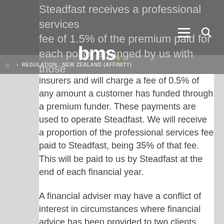BMS — REGULATION: NEW ZEALAND (AFFINITY)
Steadfast receives a professional services fee of 1.5% of the premium paid for each policy arranged by us with those insurers and will charge a fee of 0.5% of any amount a customer has funded through a premium funder. These payments are used to operate Steadfast. We will receive a proportion of the professional services fee paid to Steadfast, being 35% of that fee. This will be paid to us by Steadfast at the end of each financial year.
A financial adviser may have a conflict of interest in circumstances where financial advice has been provided to two clients